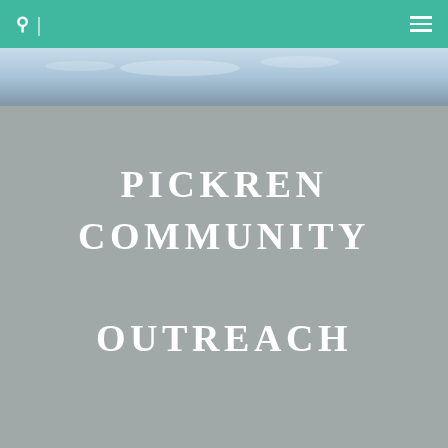[Figure (photo): Sky photo strip showing blue sky with clouds]
PICKREN COMMUNITY OUTREACH